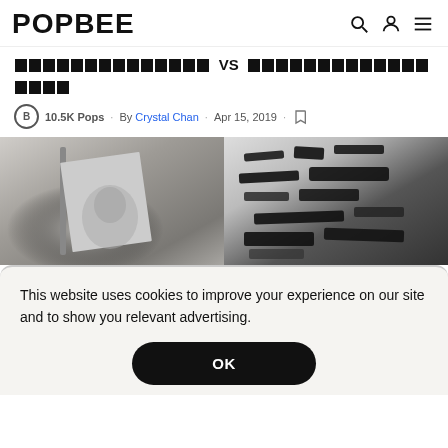POPBEE
〓〓〓〓〓〓〓〓〓〓〓〓〓〓 VS 〓〓〓〓〓〓〓〓〓〓〓〓〓〓〓〓〓
10.5K Pops · By Crystal Chan · Apr 15, 2019 ·
[Figure (photo): Two side-by-side grayscale photos. Left: a blurry grayscale image of what appears to be a magazine or book with a portrait. Right: a black and white graphic print with bold calligraphic or illustrative design.]
This website uses cookies to improve your experience on our site and to show you relevant advertising.
OK